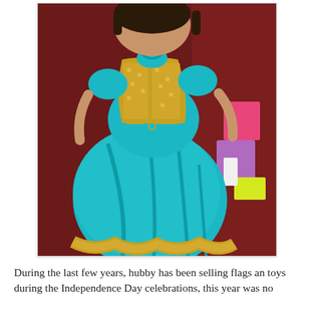[Figure (photo): A young girl wearing a teal/turquoise princess dress with gold sequin vest/bodice overlay and gold lace hem trim, lying on a dark red background with colorful toy blocks visible to the right.]
During the last few years, hubby has been selling flags an toys during the Independence Day celebrations, this year was no